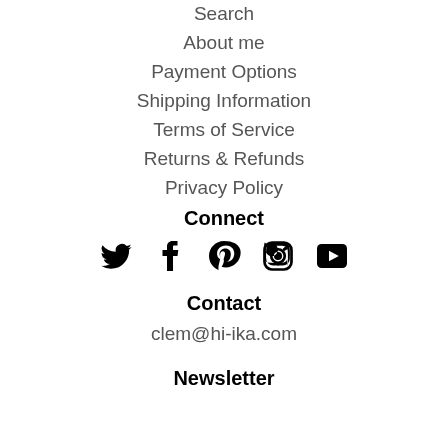Search
About me
Payment Options
Shipping Information
Terms of Service
Returns & Refunds
Privacy Policy
Connect
[Figure (illustration): Social media icons: Twitter, Facebook, Pinterest, Instagram, YouTube]
Contact
clem@hi-ika.com
Newsletter